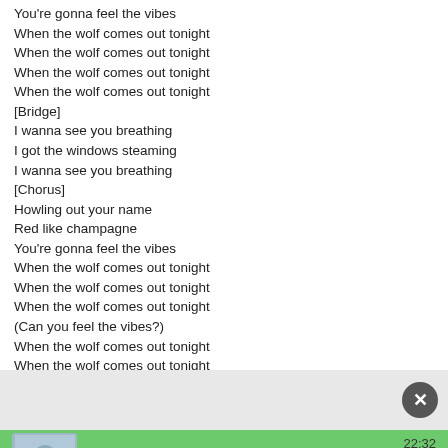You're gonna feel the vibes
When the wolf comes out tonight
When the wolf comes out tonight
When the wolf comes out tonight
When the wolf comes out tonight
[Bridge]
I wanna see you breathing
I got the windows steaming
I wanna see you breathing
[Chorus]
Howling out your name
Red like champagne
You're gonna feel the vibes
When the wolf comes out tonight
When the wolf comes out tonight
When the wolf comes out tonight
(Can you feel the vibes?)
When the wolf comes out tonight
When the wolf comes out tonight
When the wolf comes out tonight
So these are the complete lyrics of The Wolf Song by The Spencer Lee Band. For More upcoming song of Fifty Shades Freed (Original Motion Picture Soundtrack) album songs lyrics, please stay tuned with us.
[Figure (screenshot): Close button (X) on grey bar]
[Figure (screenshot): Green notification bar with avatar, name Алена 48 лет, and time 22:32]